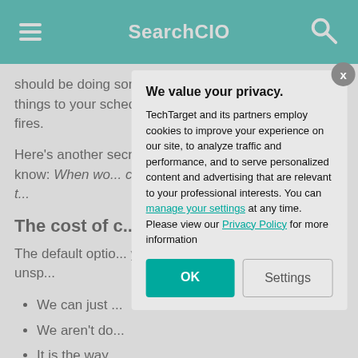SearchCIO
should be doing something more and immediately add things to your schedule, setting the conditions for more fires.
Here's another secret that change agents instinctively know: When wo... change agent ro... attention of the t...
The cost of c...
The default optio... you put off chan... following -- unsp...
We can just ...
We aren't do...
It is the way...
We value your privacy. TechTarget and its partners employ cookies to improve your experience on our site, to analyze traffic and performance, and to serve personalized content and advertising that are relevant to your professional interests. You can manage your settings at any time. Please view our Privacy Policy for more information